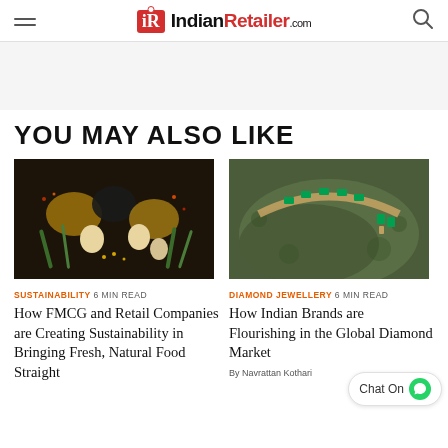IndianRetailer.com
YOU MAY ALSO LIKE
[Figure (photo): Overhead view of various spices, onions, garlic, and green vegetables on a dark background]
SUSTAINABILITY 6 MIN READ
How FMCG and Retail Companies are Creating Sustainability in Bringing Fresh, Natural Food Straight
[Figure (photo): Gold and emerald green jewellery set (necklace and earrings) placed on a mossy rock surface]
DIAMOND JEWELLERY 6 MIN READ
How Indian Brands are Flourishing in the Global Diamond Market
By Navrattan Kothari